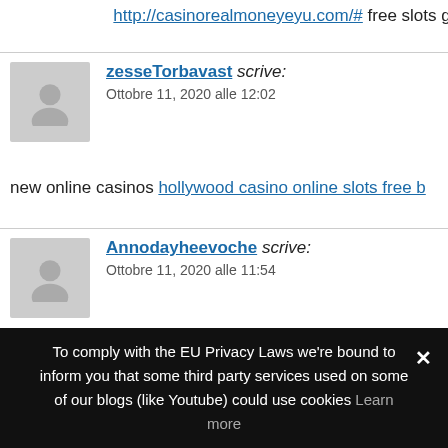http://casinorealmoneyeyu.com/# free slots games sloto
zesseTorbavast scrive: Ottobre 11, 2020 alle 12:02
new online casinos hollywood casino online slots free b
Annodayheevoche scrive: Ottobre 11, 2020 alle 11:54
lady luck casino vicksburg best online slots doubledown [url=http://casinorealmoneyeyu.com/# ]gsn casino slots
To comply with the EU Privacy Laws we're bound to inform you that some third party services used on some of our blogs (like Youtube) could use cookies Learn more